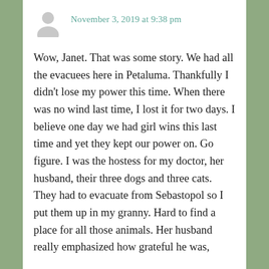[Figure (illustration): Gray silhouette avatar icon of a person]
November 3, 2019 at 9:38 pm
Wow, Janet. That was some story. We had all the evacuees here in Petaluma. Thankfully I didn’t lose my power this time. When there was no wind last time, I lost it for two days. I believe one day we had girl wins this last time and yet they kept our power on. Go figure. I was the hostess for my doctor, her husband, their three dogs and three cats. They had to evacuate from Sebastopol so I put them up in my granny. Hard to find a place for all those animals. Her husband really emphasized how grateful he was,